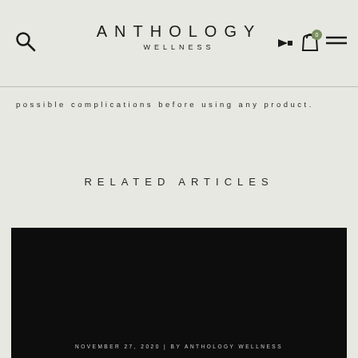ANTHOLOGY WELLNESS
possible complications before using any product.
RELATED ARTICLES
[Figure (photo): Dark image article card with footer text: NOVEMBER 27, 2020 | BY ANTHOLOGY WELLNESS]